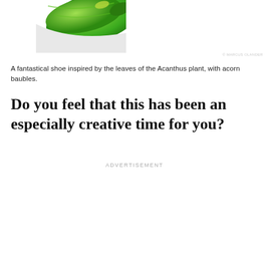[Figure (photo): Partial view of a fantastical green shoe inspired by Acanthus plant leaves with acorn baubles, cropped at the top of the page]
© MARCUS OLANDER
A fantastical shoe inspired by the leaves of the Acanthus plant, with acorn baubles.
Do you feel that this has been an especially creative time for you?
ADVERTISEMENT